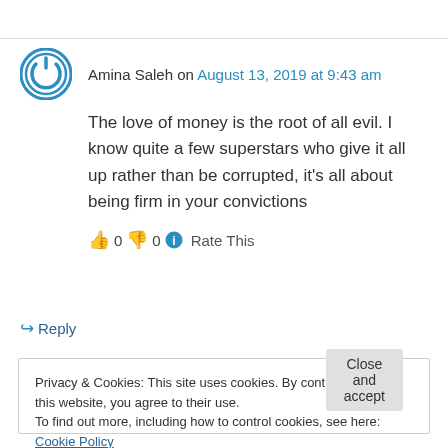Amina Saleh on August 13, 2019 at 9:43 am
The love of money is the root of all evil. I know quite a few superstars who give it all up rather than be corrupted, it's all about being firm in your convictions
👍 0 👎 0 ℹ Rate This
↪ Reply
Privacy & Cookies: This site uses cookies. By continuing to use this website, you agree to their use. To find out more, including how to control cookies, see here: Cookie Policy